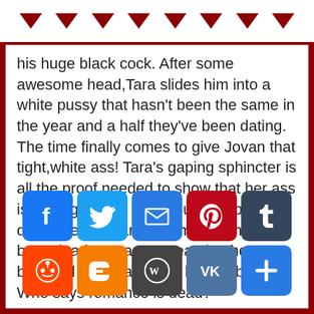[Figure (other): Row of eight red downward-pointing triangles/arrows on white header strip]
his huge black cock. After some awesome head,Tara slides him into a white pussy that hasn't been the same in the year and a half they've been dating. The time finally comes to give Jovan that tight,white ass! Tara's gaping sphincter is all the proof needed to show that her ass is getting its first ever pounding by black dick. The constant slamming of her booty leads Jovan to creaming her beautiful white face with his jizz bomb. Who says romance is dead?
[Figure (infographic): Two rows of social media share buttons: Facebook, Twitter, Email, Pinterest, Tumblr in top row; Reddit, Blogger, WordPress, VK, Share in bottom row]